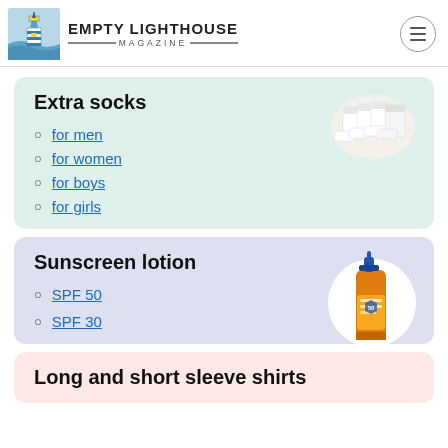EMPTY LIGHTHOUSE MAGAZINE
Extra socks
for men
for women
for boys
for girls
[Figure (photo): White ankle socks bundled together]
Sunscreen lotion
SPF 50
SPF 30
[Figure (photo): Orange sunscreen lotion bottle with pump dispenser]
Long and short sleeve shirts